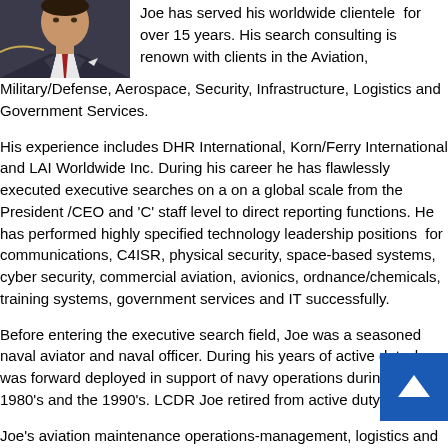[Figure (photo): Headshot photo of a man in a suit with a red tie]
Joe has served his worldwide clientele  for over 15 years. His search consulting is renown with clients in the Aviation, Military/Defense, Aerospace, Security, Infrastructure, Logistics and Government Services.
His experience includes DHR International, Korn/Ferry International and LAI Worldwide Inc. During his career he has flawlessly executed executive searches on a on a global scale from the President /CEO and 'C' staff level to direct reporting functions. He has performed highly specified technology leadership positions  for communications, C4ISR, physical security, space-based systems, cyber security, commercial aviation, avionics, ordnance/chemicals, training systems, government services and IT successfully.
Before entering the executive search field, Joe was a seasoned naval aviator and naval officer. During his years of active duty, he was forward deployed in support of navy operations during the 1980's and the 1990's. LCDR Joe retired from active duty in 1998.
Joe's aviation maintenance operations-management, logistics and infrastructure experience covers the better part of two decades and undergirds both his detailed industry knowledge and his ability to